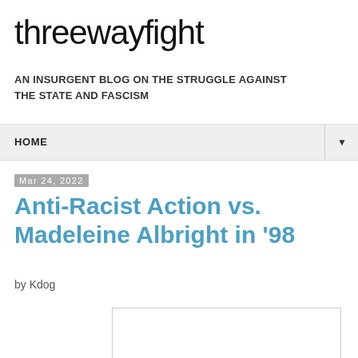threewayfight
AN INSURGENT BLOG ON THE STRUGGLE AGAINST THE STATE AND FASCISM
HOME ▼
Mar 24, 2022
Anti-Racist Action vs. Madeleine Albright in '98
by Kdog
[Figure (other): Empty white image box with border]